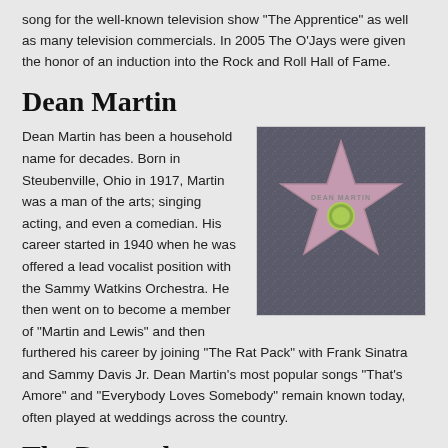song for the well-known television show "The Apprentice" as well as many television commercials. In 2005 The O'Jays were given the honor of an induction into the Rock and Roll Hall of Fame.
Dean Martin
[Figure (photo): Dean Martin's star on the Hollywood Walk of Fame, a pink star with his name on a dark speckled background]
Dean Martin has been a household name for decades. Born in Steubenville, Ohio in 1917, Martin was a man of the arts; singing acting, and even a comedian. His career started in 1940 when he was offered a lead vocalist position with the Sammy Watkins Orchestra. He then went on to become a member of "Martin and Lewis" and then furthered his career by joining "The Rat Pack" with Frank Sinatra and Sammy Davis Jr. Dean Martin's most popular songs "That's Amore" and "Everybody Loves Somebody" remain known today, often played at weddings across the country.
The Pretenders